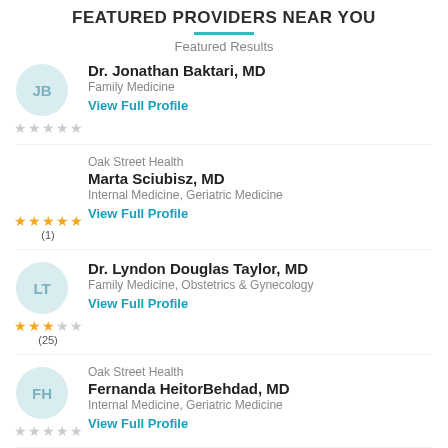FEATURED PROVIDERS NEAR YOU
Featured Results
Dr. Jonathan Baktari, MD | Family Medicine | View Full Profile | 0 stars
Oak Street Health | Marta Sciubisz, MD | Internal Medicine, Geriatric Medicine | View Full Profile | 5 stars (1)
Dr. Lyndon Douglas Taylor, MD | Family Medicine, Obstetrics & Gynecology | View Full Profile | 3.5 stars (25)
Oak Street Health | Fernanda HeitorBehdad, MD | Internal Medicine, Geriatric Medicine | View Full Profile | 0 stars
Dr. Hector Salcedo, MD